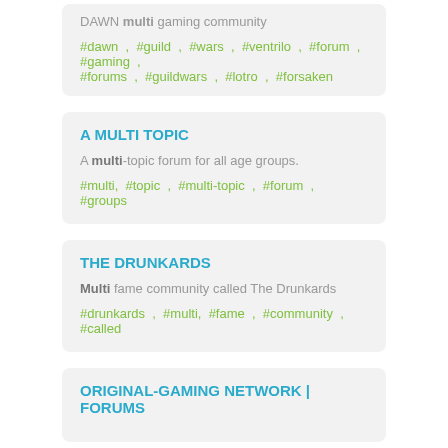DAWN multi gaming community
#dawn , #guild , #wars , #ventrilo , #forum , #gaming , #forums , #guildwars , #lotro , #forsaken
A MULTI TOPIC
A multi-topic forum for all age groups.
#multi, #topic , #multi-topic , #forum , #groups
THE DRUNKARDS
Multi fame community called The Drunkards
#drunkards , #multi, #fame , #community , #called
ORIGINAL-GAMING NETWORK | FORUMS